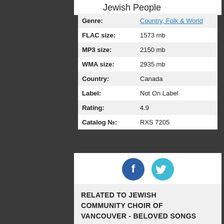Jewish People
| Genre: | Country, Folk & World |
| FLAC size: | 1573 mb |
| MP3 size: | 2150 mb |
| WMA size: | 2935 mb |
| Country: | Canada |
| Label: | Not On Label |
| Rating: | 4.9 |
| Catalog №: | RXS 7205 |
[Figure (infographic): Facebook and Twitter social share buttons as circular icons]
RELATED TO JEWISH COMMUNITY CHOIR OF VANCOUVER - BELOVED SONGS OF THE JEWISH PEOPLE: